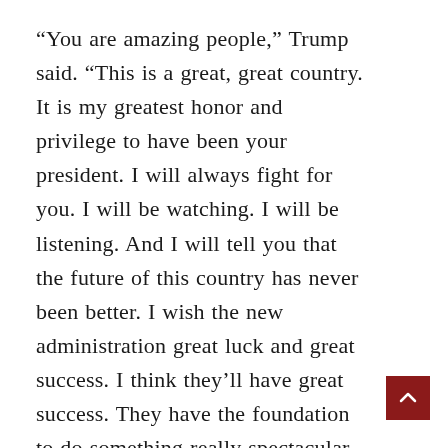“You are amazing people,” Trump said. “This is a great, great country. It is my greatest honor and privilege to have been your president. I will always fight for you. I will be watching. I will be listening. And I will tell you that the future of this country has never been better. I wish the new administration great luck and great success. I think they’ll have great success. They have the foundation to do something really spectacular and again, we put it in a position like it’s never been before despite the worst plague to hit since 1917, over 100 years ago.”